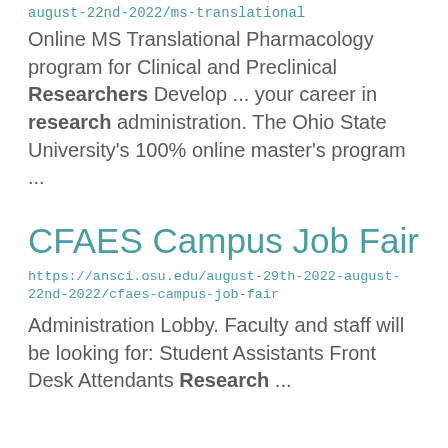august-22nd-2022/ms-translational
Online MS Translational Pharmacology program for Clinical and Preclinical Researchers Develop ... your career in research administration. The Ohio State University's 100% online master's program ...
CFAES Campus Job Fair
https://ansci.osu.edu/august-29th-2022-august-22nd-2022/cfaes-campus-job-fair
Administration Lobby.  Faculty and staff will be looking for:  Student Assistants Front Desk Attendants Research ...